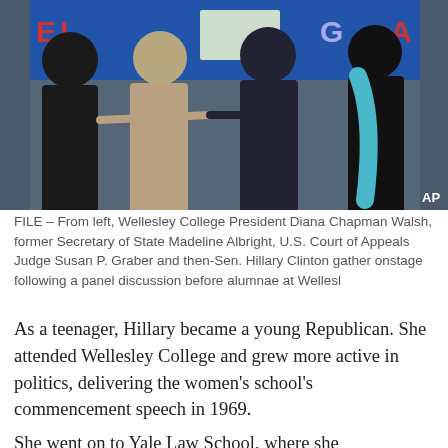[Figure (photo): FILE photo showing from left: Wellesley College President Diana Chapman Walsh, former Secretary of State Madeline Albright, U.S. Court of Appeals Judge Susan P. Graber, and then-Sen. Hillary Clinton shaking hands onstage. AP watermark in bottom right.]
FILE – From left, Wellesley College President Diana Chapman Walsh, former Secretary of State Madeline Albright, U.S. Court of Appeals Judge Susan P. Graber and then-Sen. Hillary Clinton gather onstage following a panel discussion before alumnae at Wellesl
As a teenager, Hillary became a young Republican. She attended Wellesley College and grew more active in politics, delivering the women's school's commencement speech in 1969.
She went on to Yale Law School, where she